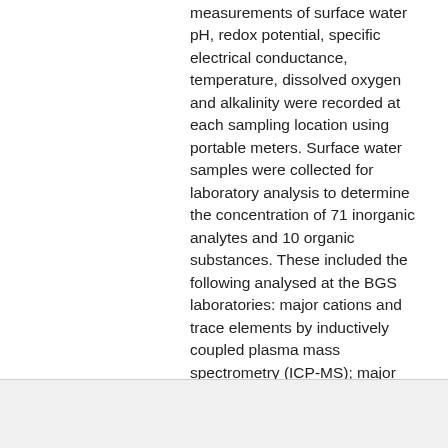measurements of surface water pH, redox potential, specific electrical conductance, temperature, dissolved oxygen and alkalinity were recorded at each sampling location using portable meters. Surface water samples were collected for laboratory analysis to determine the concentration of 71 inorganic analytes and 10 organic substances. These included the following analysed at the BGS laboratories: major cations and trace elements by inductively coupled plasma mass spectrometry (ICP-MS); major anions by ion